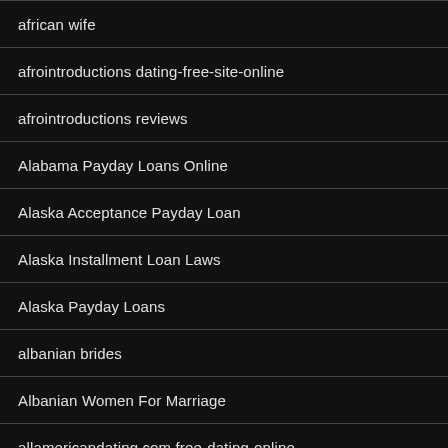african wife
afrointroductions dating-free-site-online
afrointroductions reviews
Alabama Payday Loans Online
Alaska Acceptance Payday Loan
Alaska Installment Loan Laws
Alaska Payday Loans
albanian brides
Albanian Women For Marriage
allamericandating.com free-dating-online
allie kircher dating
alternative dating sites